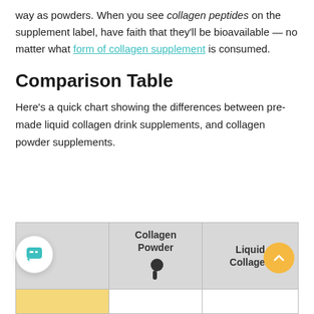way as powders. When you see collagen peptides on the supplement label, have faith that they'll be bioavailable — no matter what form of collagen supplement is consumed.
Comparison Table
Here's a quick chart showing the differences between pre-made liquid collagen drink supplements, and collagen powder supplements.
|  | Collagen Powder | Liquid Collagen |
| --- | --- | --- |
|  |  |  |